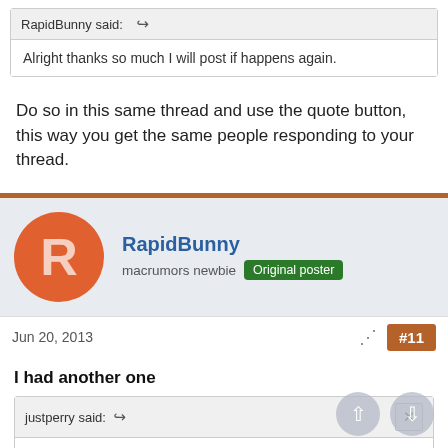RapidBunny said: ↩
Alright thanks so much I will post if happens again.
Do so in this same thread and use the quote button, this way you get the same people responding to your thread.
RapidBunny
macrumors newbie  Original poster
Jun 20, 2013
#11
I had another one
justperry said: ↩
Do so in this same thread and use the quote button, this way you get the same people responding to your thread.